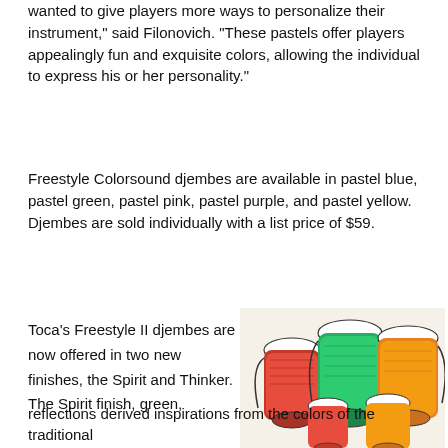wanted to give players more ways to personalize their instrument," said Filonovich. "These pastels offer players appealingly fun and exquisite colors, allowing the individual to express his or her personality."
Freestyle Colorsound djembes are available in pastel blue, pastel green, pastel pink, pastel purple, and pastel yellow. Djembes are sold individually with a list price of $59.
Toca's Freestyle II djembes are now offered in two new finishes, the Spirit and Thinker. The Spirit finish, green,
[Figure (photo): Group of colorful djembe drums with red, green, and orange patterned finishes arranged together]
reflections derived inspirations from the colors of the traditional